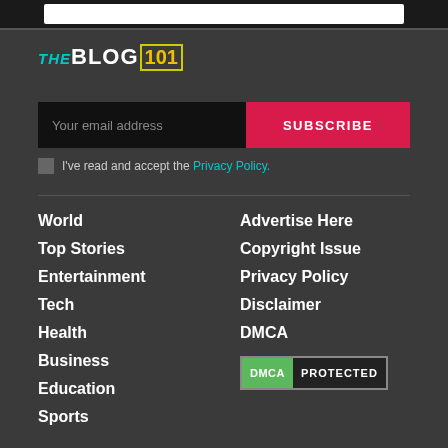[Figure (logo): THE BLOG 101 logo with cyan THE, white BLOG, and yellow 101 in a box]
Your email address
SUBSCRIBE
I've read and accept the Privacy Policy.
World
Top Stories
Entertainment
Tech
Health
Business
Education
Sports
Advertise Here
Copyright Issue
Privacy Policy
Disclaimer
DMCA
[Figure (logo): DMCA PROTECTED badge with green DMCA and dark PROTECTED]